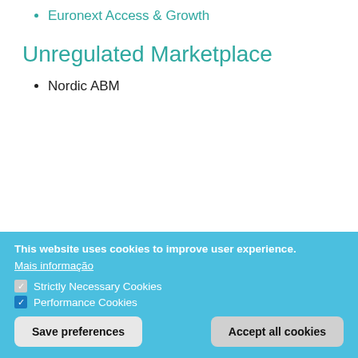Euronext Access & Growth
Unregulated Marketplace
Nordic ABM
This website uses cookies to improve user experience.
Mais informação
Strictly Necessary Cookies
Performance Cookies
Save preferences
Accept all cookies